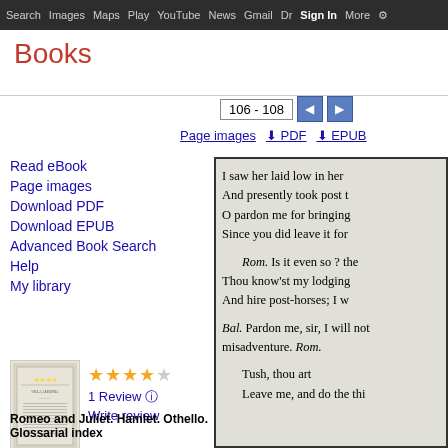Search  Images  Maps  Play  YouTube  News  Gmail  Dr  Sign In  More  ⚙
Books
106 - 108
Page images  ⬇ PDF  ⬇ EPUB
Read eBook
Page images
Download PDF
Download EPUB
Advanced Book Search
Help
My library
[Figure (illustration): Thumbnail of book cover for Romeo and Juliet. Hamlet. Othello. Glossarial index]
1 Review  ⓘ
Write review
Romeo and Juliet. Hamlet. Othello.
Glossarial index
I saw her laid low in her
And presently took post t
O pardon me for bringing
Since you did leave it for

Rom. Is it even so ? the
Thou know'st my lodging
And hire post-horses; I w

Bal. Pardon me, sir, I will not
misadventure. Rom.

Tush, thou art
Leave me, and do the thi